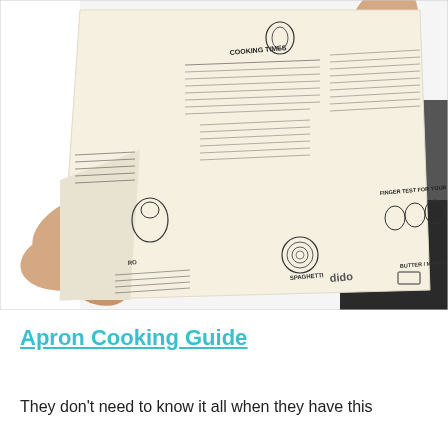[Figure (photo): A person holding up a cream/natural colored apron that displays printed cooking guides including cooking times, finger test for steak, spaghetti, butter/margarine/lard, and rice sections with diagrams and text.]
Apron Cooking Guide
They don't need to know it all when they have this